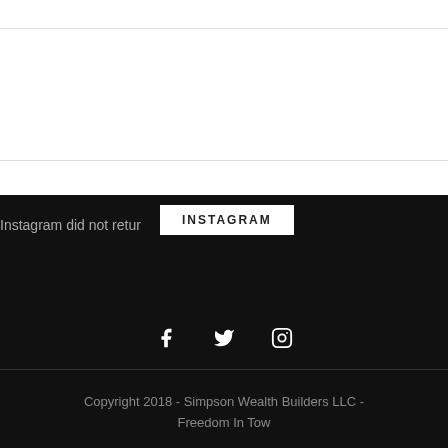Instagram did not return a 200.
INSTAGRAM
[Figure (other): Social media icons: Facebook (f), Twitter (bird), Instagram (camera)]
Copyright 2018 - Simpson Wealth Builders LLC - Freedom In Tow
Social media & sharing icons powered by UltimatelySocial